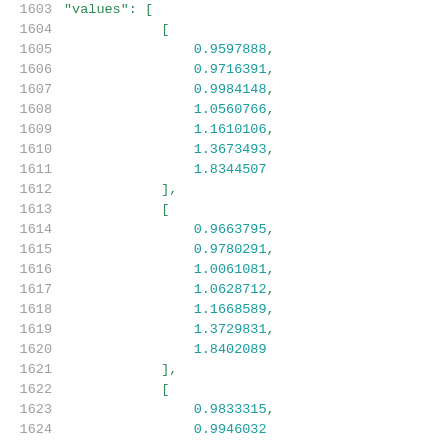Code listing showing JSON 'values' array with nested numeric arrays. Line numbers 1603-1624. Contains three nested arrays with floating point values: [0.9597888, 0.9716391, 0.9984148, 1.0560766, 1.1610106, 1.3673493, 1.8344507], [0.9663795, 0.9780291, 1.0061081, 1.0628712, 1.1668589, 1.3729831, 1.8402089], [0.9833315, 0.9946032...]